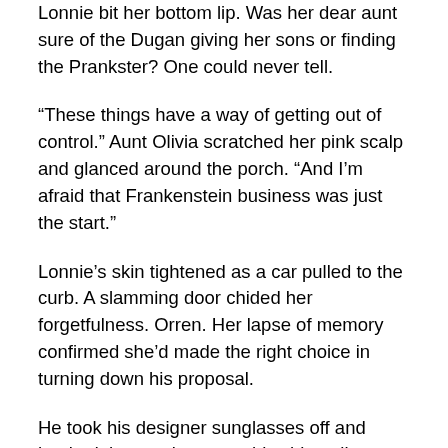Lonnie bit her bottom lip. Was her dear aunt sure of the Dugan giving her sons or finding the Prankster? One could never tell.
“These things have a way of getting out of control.” Aunt Olivia scratched her pink scalp and glanced around the porch. “And I’m afraid that Frankenstein business was just the start.”
Lonnie’s skin tightened as a car pulled to the curb. A slamming door chided her forgetfulness. Orren. Her lapse of memory confirmed she’d made the right choice in turning down his proposal.
He took his designer sunglasses off and hooked the earpiece over his shirt collar.
“Well, it certainly has the look of a haunted house.” He